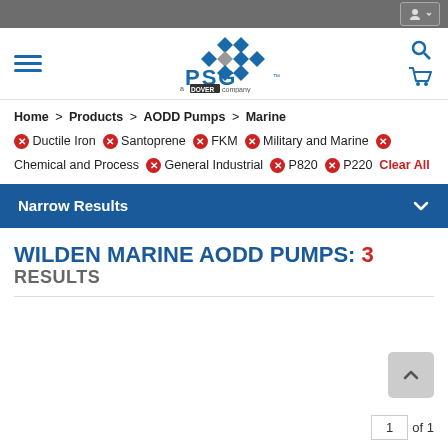[Figure (logo): PSG - a Dover company logo with blue diamond pattern]
Home > Products > AODD Pumps > Marine
Ductile Iron  Santoprene  FKM  Military and Marine  Chemical and Process  General Industrial  P820  P220  Clear All
Narrow Results
WILDEN MARINE AODD PUMPS: 3 RESULTS
1 of 1